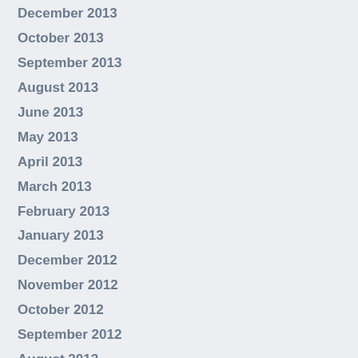December 2013
October 2013
September 2013
August 2013
June 2013
May 2013
April 2013
March 2013
February 2013
January 2013
December 2012
November 2012
October 2012
September 2012
August 2012